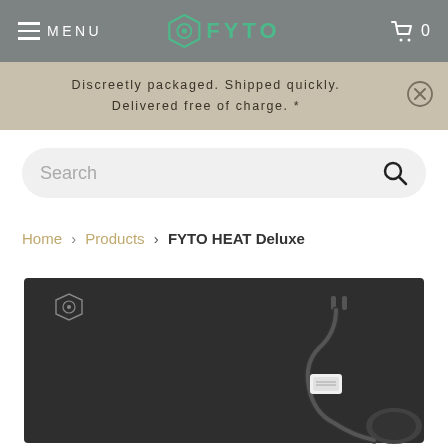MENU  FYTO  0
Discreetly packaged. Shipped quickly. Delivered free of charge. *
Search
Home > Products > FYTO HEAT Deluxe
[Figure (photo): A dark grey/black rectangular heating mat laid flat, with a power cord and adapter/controller visible in the upper right corner. The FYTO hexagon logo is visible in the upper left of the mat.]